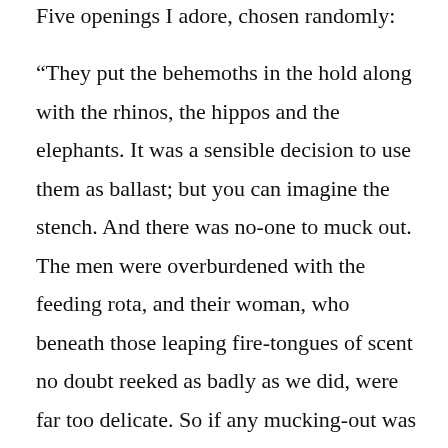Five openings I adore, chosen randomly:
“They put the behemoths in the hold along with the rhinos, the hippos and the elephants. It was a sensible decision to use them as ballast; but you can imagine the stench. And there was no-one to muck out. The men were overburdened with the feeding rota, and their woman, who beneath those leaping fire-tongues of scent no doubt reeked as badly as we did, were far too delicate. So if any mucking-out was to